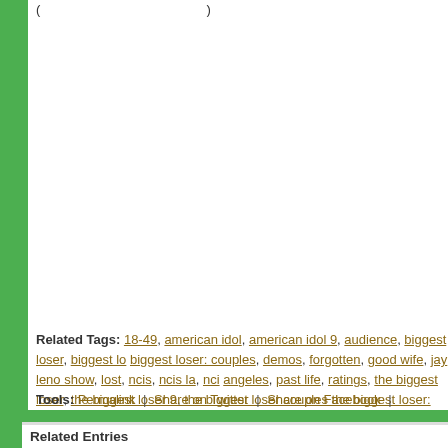(... truncated text ...)
Related Tags: 18-49, american idol, american idol 9, audience, biggest loser, biggest loser: couples, demos, forgotten, good wife, jay leno show, lost, ncis, ncis la, ncis los angeles, past life, ratings, the biggest loser, the biggest loser 9, the biggest loser couples, the biggest loser: couples, the forgotten, the good wife, the jay leno show, tuesday ratings
Tools: Permalink | Share on Twitter | Share on Facebook | Comments (0) | Email th...
Related Entries